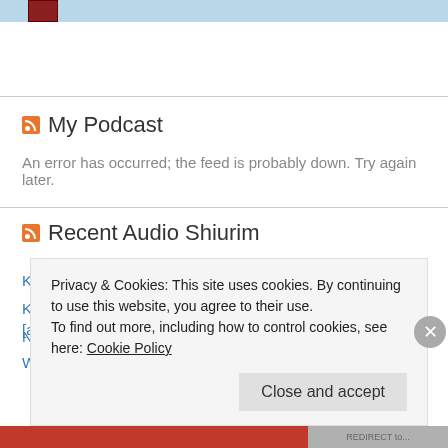[Figure (illustration): Top banner with light blue background and a dark red book spine graphic]
My Podcast
An error has occurred; the feed is probably down. Try again later.
Recent Audio Shiurim
Kindness and Cruelty: David and Chanun [audio]
Kindness and Betrayal: David, Mephiboshet and Tziva [audio]
Navi: Malchut Bet David [audio]
Why Do Jews Argue So Much? [audio]
Privacy & Cookies: This site uses cookies. By continuing to use this website, you agree to their use.
To find out more, including how to control cookies, see here: Cookie Policy
Close and accept